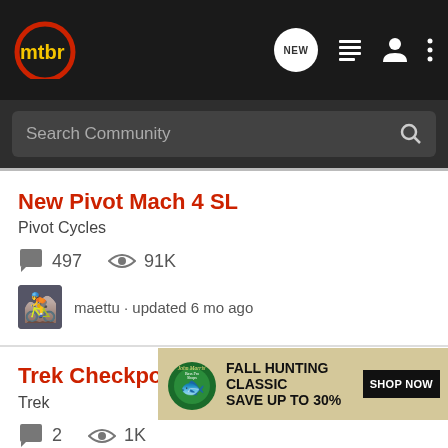mtbr — NEW, list, user, menu icons
Search Community
New Pivot Mach 4 SL
Pivot Cycles
497 comments · 91K views
maettu · updated 6 mo ago
Trek Checkpoint
Trek
2 comments · 1K views
le_pedal · updated 10 mo ago
[Figure (screenshot): Bass Pro Shops Fall Hunting Classic advertisement banner: FALL HUNTING CLASSIC SAVE UP TO 30% with SHOP NOW button]
2021 S…